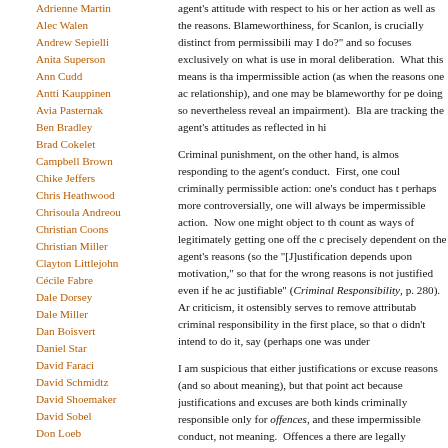Adrienne Martin
Alec Walen
Andrew Sepielli
Anita Superson
Ann Cudd
Antti Kauppinen
Avia Pasternak
Ben Bradley
Brad Cokelet
Campbell Brown
Chike Jeffers
Chris Heathwood
Chrisoula Andreou
Christian Coons
Christian Miller
Clayton Littlejohn
Cécile Fabre
Dale Dorsey
Dale Miller
Dan Boisvert
Daniel Star
David Faraci
David Schmidtz
David Shoemaker
David Sobel
Don Loeb
agent's attitude with respect to his or her action as well as the reasons. Blameworthiness, for Scanlon, is crucially distinct from permissibility: it does not answer the question "what may I do?" and so focuses exclusively on what is permissible, and so it is not primarily of use in moral deliberation. What this means is that one may do a blameworthy but permissible impermissible action (as when the reasons one acts on are unrelated to the permissibility relationship), and one may be blameworthy for performing a permissible action (when the reasons for doing so nevertheless reveal an impairment). Blame, then, and blameworthiness, for Scanlon, are tracking the agent's attitudes as reflected in his or her reasons.
Criminal punishment, on the other hand, is almost exclusively about responding to the agent's conduct. First, one could say that punishment requires criminally permissible action: one's conduct has to constitute an offence. And then, perhaps more controversially, one will always be criminally responsible for a criminally impermissible action. Now one might object to this: justifications and excuses clearly count as ways of legitimately getting one off the criminal hook, and they are sometimes precisely dependent on the agent's reasons (so the claim goes). Fletcher writes that "[J]ustification depends upon motivation," so that a person who acts to achieve a good end for the wrong reasons is not justified even if he achieves the good end and his act is objectively justifiable" (Criminal Responsibility, p. 280). And if justification works as a complete criticism, it ostensibly serves to remove attributability from the picture, which grounds criminal responsibility in the first place, so that one is not responsible for an action one didn't intend to do it, say (perhaps one was under...
I am suspicious that either justifications or excuses are really about the agent's reasons (and so about meaning), but that point actually matters less than one might think, because justifications and excuses are both kinds of defences against criminal liability. We are criminally responsible only for offences, and these are instances of criminally impermissible conduct, not meaning. Offences are crimes, which is to say, violations of norms for which there are legally sanctioned reasons. They are cri... Defences, if successful, offer legitimate grounds...